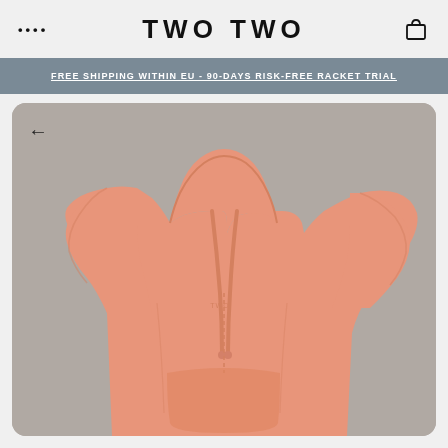.... TWO TWO [cart icon]
FREE SHIPPING WITHIN EU - 90-DAYS RISK-FREE RACKET TRIAL
[Figure (photo): Product photo of a salmon/peach-colored oversized hoodie with drawstring hood on a grey background. Back arrow navigation visible at top left of image area.]